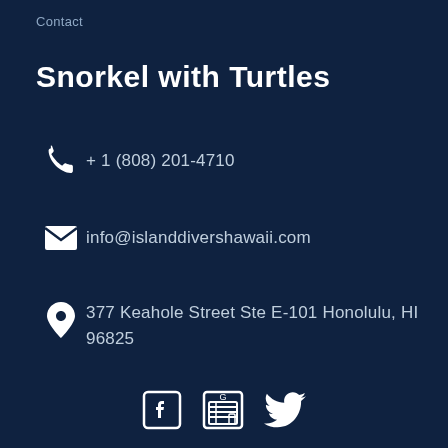Contact
Snorkel with Turtles
+ 1 (808) 201-4710
info@islanddivershawaii.com
377 Keahole Street Ste E-101 Honolulu, HI 96825
[Figure (logo): Social media icons: Facebook, Google Maps/store, Twitter]